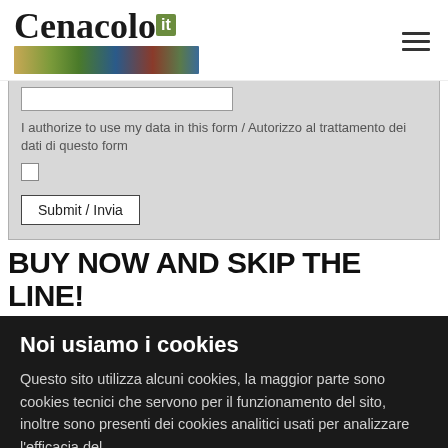Cenacolo.it
I authorize to use my data in this form / Autorizzo al trattamento dei dati di questo form
Submit / Invia
BUY NOW AND SKIP THE LINE!
Noi usiamo i cookies
Questo sito utilizza alcuni cookies, la maggior parte sono cookies tecnici che servono per il funzionamento del sito, inoltre sono presenti dei cookies analitici usati per analizzare l'efficacia del